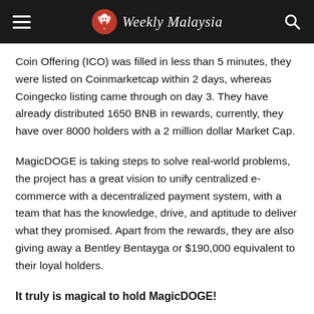Weekly Malaysia
Coin Offering (ICO) was filled in less than 5 minutes, they were listed on Coinmarketcap within 2 days, whereas Coingecko listing came through on day 3. They have already distributed 1650 BNB in rewards, currently, they have over 8000 holders with a 2 million dollar Market Cap.
MagicDOGE is taking steps to solve real-world problems, the project has a great vision to unify centralized e-commerce with a decentralized payment system, with a team that has the knowledge, drive, and aptitude to deliver what they promised. Apart from the rewards, they are also giving away a Bentley Bentayga or $190,000 equivalent to their loyal holders.
It truly is magical to hold MagicDOGE!